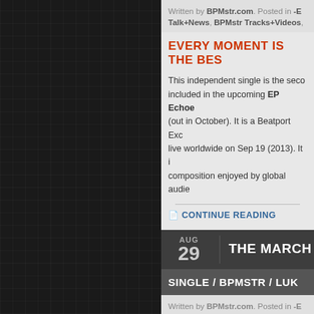Written by BPMstr.com. Posted in -E Talk+News, BPMstr Tracks+Videos,
EVERY MOMENT IS THE BES…
This independent single is the seco… included in the upcoming EP Echoe… (out in October). It is a Beatport Exc… live worldwide on Sep 19 (2013). It is… composition enjoyed by global audie…
CONTINUE READING
AUG 29 | THE MARCH OF ATT…
SINGLE / BPMSTR / LUK…
Written by BPMstr.com. Posted in -E Talk+News, BPMstr Tracks+Videos,
THE MARCH OF ATTITU…